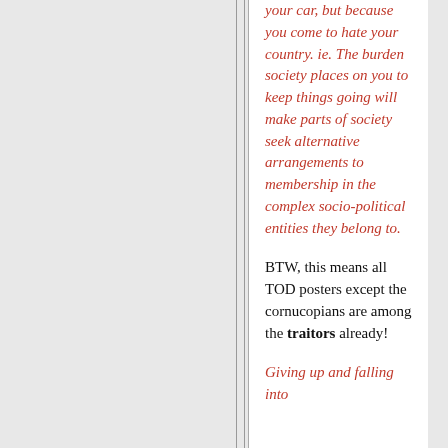your car, but because you come to hate your country. ie. The burden society places on you to keep things going will make parts of society seek alternative arrangements to membership in the complex socio-political entities they belong to.
BTW, this means all TOD posters except the cornucopians are among the traitors already!
Giving up and falling into